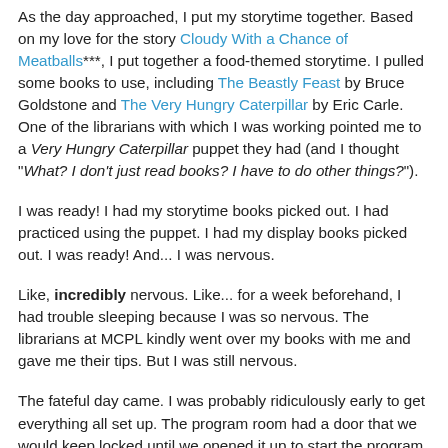As the day approached, I put my storytime together. Based on my love for the story Cloudy With a Chance of Meatballs***, I put together a food-themed storytime. I pulled some books to use, including The Beastly Feast by Bruce Goldstone and The Very Hungry Caterpillar by Eric Carle. One of the librarians with which I was working pointed me to a Very Hungry Caterpillar puppet they had (and I thought "What? I don't just read books? I have to do other things?").
I was ready! I had my storytime books picked out. I had practiced using the puppet. I had my display books picked out. I was ready! And... I was nervous.
Like, incredibly nervous. Like... for a week beforehand, I had trouble sleeping because I was so nervous. The librarians at MCPL kindly went over my books with me and gave me their tips. But I was still nervous.
The fateful day came. I was probably ridiculously early to get everything all set up. The program room had a door that we would keep locked until we opened it up to start the program. About 15 minutes before the start time, kids started rattling